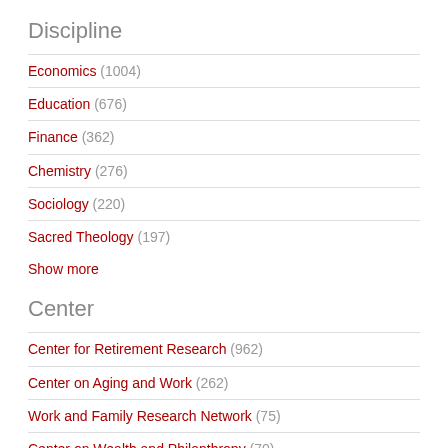Discipline
Economics (1004)
Education (676)
Finance (362)
Chemistry (276)
Sociology (220)
Sacred Theology (197)
Show more
Center
Center for Retirement Research (962)
Center on Aging and Work (262)
Work and Family Research Network (75)
Center on Wealth and Philanthropy (70)
TIMSS and PIRLS International Study Center (69)
Church in the 21st Century Center (60)
Show more